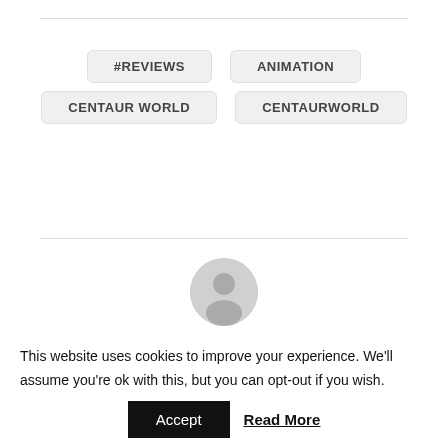#REVIEWS
ANIMATION
CENTAUR WORLD
CENTAURWORLD
[Figure (illustration): Default user avatar icon — grey circle with silhouette of a person]
https://blog.voiceamerica.com/author/assivo/
Felix Assivo
This website uses cookies to improve your experience. We'll assume you're ok with this, but you can opt-out if you wish.
Accept   Read More